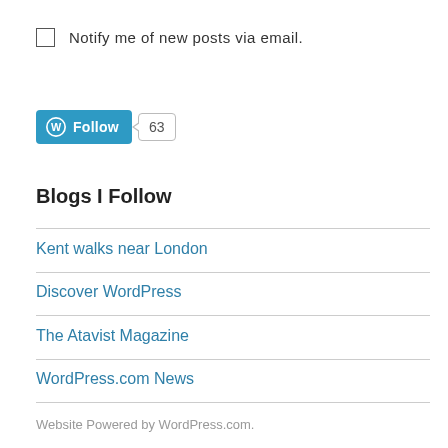Notify me of new posts via email.
[Figure (other): WordPress Follow button with count badge showing 63]
Blogs I Follow
Kent walks near London
Discover WordPress
The Atavist Magazine
WordPress.com News
Website Powered by WordPress.com.